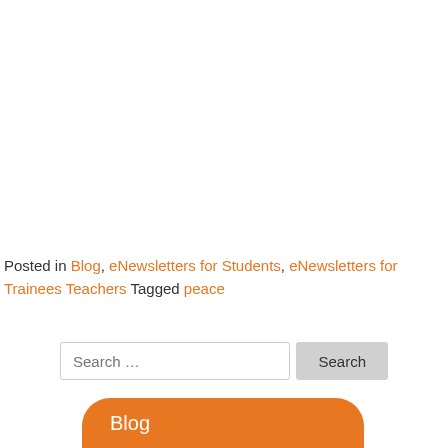Posted in Blog, eNewsletters for Students, eNewsletters for Trainees Teachers Tagged peace
Search ...
Blog